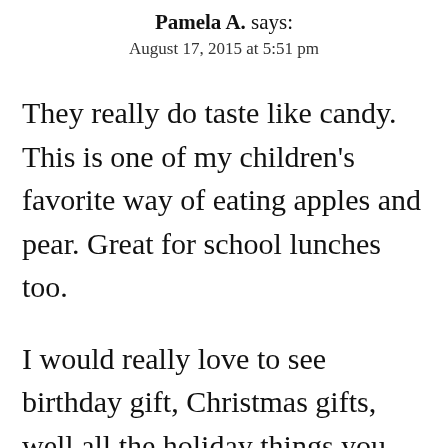Pamela A. says: August 17, 2015 at 5:51 pm
They really do taste like candy. This is one of my children's favorite way of eating apples and pear. Great for school lunches too.
I would really love to see birthday gift, Christmas gifts, well all the holiday things you do. We are on a $60 Christmas budget this year and love, love, love all your ideas. Just simply beautiful:)